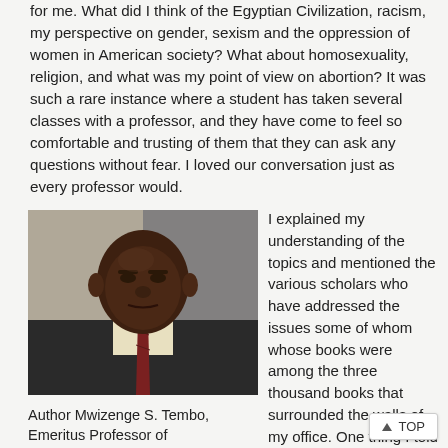for me. What did I think of the Egyptian Civilization, racism, my perspective on gender, sexism and the oppression of women in American society? What about homosexuality, religion, and what was my point of view on abortion? It was such a rare instance where a student has taken several classes with a professor, and they have come to feel so comfortable and trusting of them that they can ask any questions without fear. I loved our conversation just as every professor would.
[Figure (photo): Portrait photo of Author Mwizenge S. Tembo, Emeritus Professor, wearing a dark suit and tie, in a formal indoor setting.]
Author Mwizenge S. Tembo, Emeritus Professor of
I explained my understanding of the topics and mentioned the various scholars who have addressed the issues some of whom whose books were among the three thousand books that surrounded the walls of my office. One thing I told her is that she and other students in my classes would never know my opinion on some of the more controversial topics such as abortion. Because once I revealed my opinion, she and